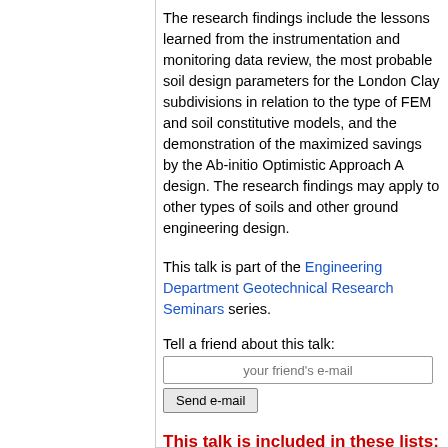The research findings include the lessons learned from the instrumentation and monitoring data review, the most probable soil design parameters for the London Clay subdivisions in relation to the type of FEM and soil constitutive models, and the demonstration of the maximized savings by the Ab-initio Optimistic Approach A design. The research findings may apply to other types of soils and other ground engineering design.
This talk is part of the Engineering Department Geotechnical Research Seminars series.
Tell a friend about this talk:
your friend's e-mail
Send e-mail
This talk is included in these lists: